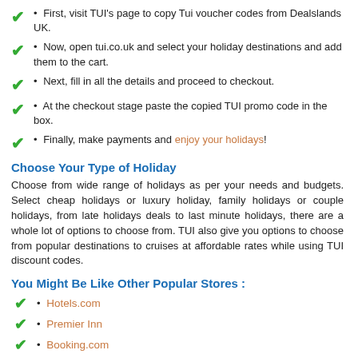First, visit TUI's page to copy Tui voucher codes from Dealslands UK.
Now, open tui.co.uk and select your holiday destinations and add them to the cart.
Next, fill in all the details and proceed to checkout.
At the checkout stage paste the copied TUI promo code in the box.
Finally, make payments and enjoy your holidays!
Choose Your Type of Holiday
Choose from wide range of holidays as per your needs and budgets. Select cheap holidays or luxury holiday, family holidays or couple holidays, from late holidays deals to last minute holidays, there are a whole lot of options to choose from. TUI also give you options to choose from popular destinations to cruises at affordable rates while using TUI discount codes.
You Might Be Like Other Popular Stores :
Hotels.com
Premier Inn
Booking.com
TUI Holiday App